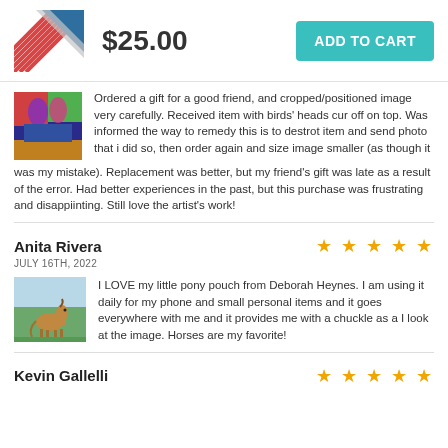[Figure (other): Product thumbnail image showing abstract art with red stripes and blue triangle, and a teal Add to Cart button with price $25.00]
Ordered a gift for a good friend, and cropped/positioned image very carefully. Received item with birds' heads cur off on top. Was informed the way to remedy this is to destrot item and send photo that i did so, then order again and size image smaller (as though it was my mistake). Replacement was better, but my friend's gift was late as a result of the error. Had better experiences in the past, but this purchase was frustrating and disappiinting. Still love the artist's work!
Anita Rivera
JULY 16TH, 2022
[Figure (photo): Photo of a small horse/pony in a green field]
I LOVE my little pony pouch from Deborah Heynes. I am using it daily for my phone and small personal items and it goes everywhere with me and it provides me with a chuckle as a I look at the image. Horses are my favorite!
Kevin Gallelli